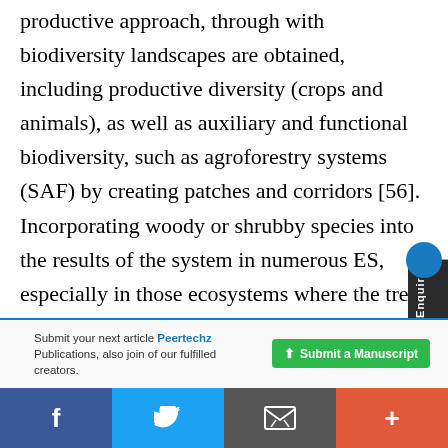productive approach, through with biodiversity landscapes are obtained, including productive diversity (crops and animals), as well as auxiliary and functional biodiversity, such as agroforestry systems (SAF) by creating patches and corridors [56]. Incorporating woody or shrubby species into the results of the system in numerous ES, especially in those ecosystems where the tree or species are
Submit your next article Peertechz Publications, also join of our fulfilled creators.
Submit a Manuscript